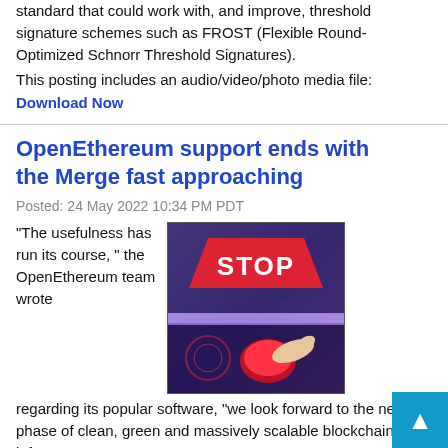standard that could work with, and improve, threshold signature schemes such as FROST (Flexible Round-Optimized Schnorr Threshold Signatures).
This posting includes an audio/video/photo media file: Download Now
OpenEthereum support ends with the Merge fast approaching
Posted: 24 May 2022 10:34 PM PDT
"The usefulness has run its course," the OpenEthereum team wrote regarding its popular software, "we look forward to the next phase of clean, green and massively scalable blockchain infrastructure."
[Figure (photo): A hand pressing a glowing red STOP button on a futuristic digital interface with blue/purple glow effects.]